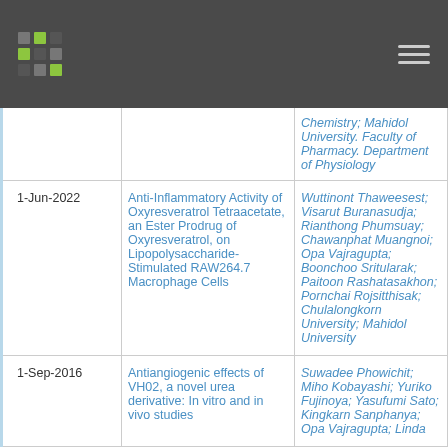Navigation header with logo and menu icon
| Date | Title | Authors |
| --- | --- | --- |
|  | Chemistry; Mahidol University. Faculty of Pharmacy. Department of Physiology |  |
| 1-Jun-2022 | Anti-Inflammatory Activity of Oxyresveratrol Tetraacetate, an Ester Prodrug of Oxyresveratrol, on Lipopolysaccharide-Stimulated RAW264.7 Macrophage Cells | Wuttinont Thaweesest; Visarut Buranasudja; Rianthong Phumsuay; Chawanphat Muangnoi; Opa Vajragupta; Boonchoo Sritularak; Paitoon Rashatasakhon; Pornchai Rojsitthisak; Chulalongkorn University; Mahidol University |
| 1-Sep-2016 | Antiangiogenic effects of VH02, a novel urea derivative: In vitro and in vivo studies | Suwadee Phowichit; Miho Kobayashi; Yuriko Fujinoya; Yasufumi Sato; Kingkarn Sanphanya; Opa Vajragupta; Linda |